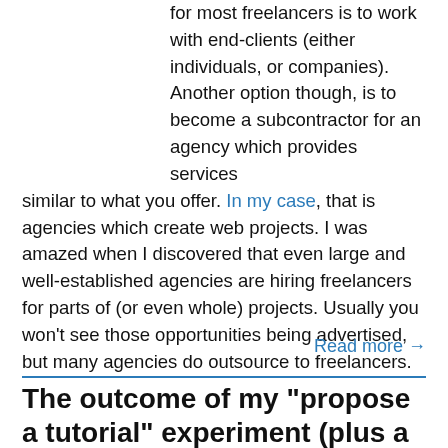for most freelancers is to work with end-clients (either individuals, or companies). Another option though, is to become a subcontractor for an agency which provides services similar to what you offer. In my case, that is agencies which create web projects. I was amazed when I discovered that even large and well-established agencies are hiring freelancers for parts of (or even whole) projects. Usually you won’t see those opportunities being advertised, but many agencies do outsource to freelancers.
Read more →
The outcome of my “propose a tutorial” experiment (plus a few replies to readers’ questions)